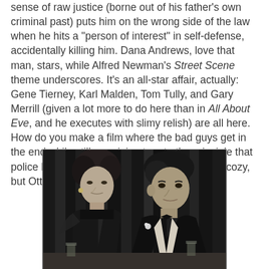sense of raw justice (borne out of his father's own criminal past) puts him on the wrong side of the law when he hits a "person of interest" in self-defense, accidentally killing him. Dana Andrews, love that man, stars, while Alfred Newman's Street Scene theme underscores. It's an all-star affair, actually: Gene Tierney, Karl Malden, Tom Tully, and Gary Merrill (given a lot more to do here than in All About Eve, and he executes with slimy relish) are all here. How do you make a film where the bad guys get in the end while still remaining true to the principle that police brutality is bad? It ain't easy, and it ain't cozy, but Otto Preminger satisfies.
[Figure (photo): Black and white film still showing a woman in a dark dress with sheer sleeves (left) and a man in a tuxedo with a boutonniere (right), seated at what appears to be a table, in a classic 1950s film noir style.]